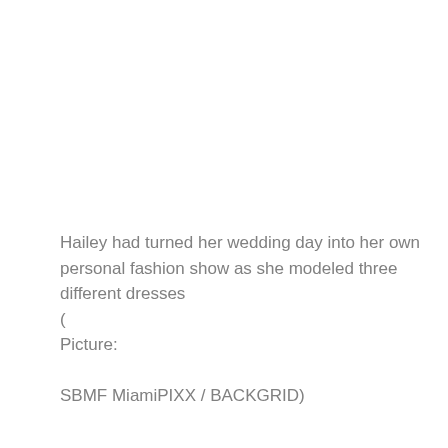Hailey had turned her wedding day into her own personal fashion show as she modeled three different dresses
(
Picture:

SBMF MiamiPIXX / BACKGRID)